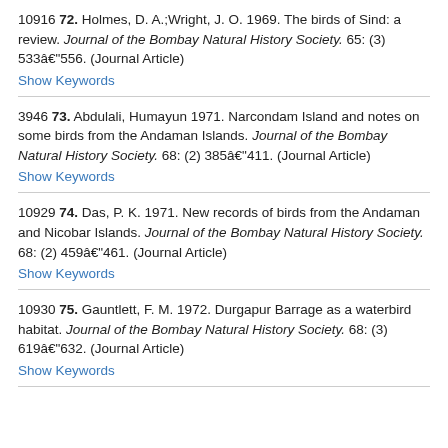10916 72. Holmes, D. A.;Wright, J. O. 1969. The birds of Sind: a review. Journal of the Bombay Natural History Society. 65: (3) 533–556. (Journal Article)
3946 73. Abdulali, Humayun 1971. Narcondam Island and notes on some birds from the Andaman Islands. Journal of the Bombay Natural History Society. 68: (2) 385–411. (Journal Article)
10929 74. Das, P. K. 1971. New records of birds from the Andaman and Nicobar Islands. Journal of the Bombay Natural History Society. 68: (2) 459–461. (Journal Article)
10930 75. Gauntlett, F. M. 1972. Durgapur Barrage as a waterbird habitat. Journal of the Bombay Natural History Society. 68: (3) 619–632. (Journal Article)